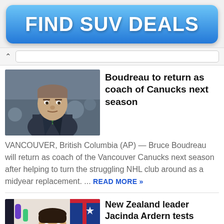[Figure (other): Blue gradient button advertisement reading FIND SUV DEALS in bold white text]
[Figure (photo): Photo of Bruce Boudreau, hockey coach, in a dark suit with green tie, looking serious, crowd in background]
Boudreau to return as coach of Canucks next season
VANCOUVER, British Columbia (AP) — Bruce Boudreau will return as coach of the Vancouver Canucks next season after helping to turn the struggling NHL club around as a midyear replacement. ... READ MORE »
[Figure (photo): Photo of New Zealand leader Jacinda Ardern speaking at a podium, colorful background with abstract shapes]
New Zealand leader Jacinda Ardern tests positive for COVID